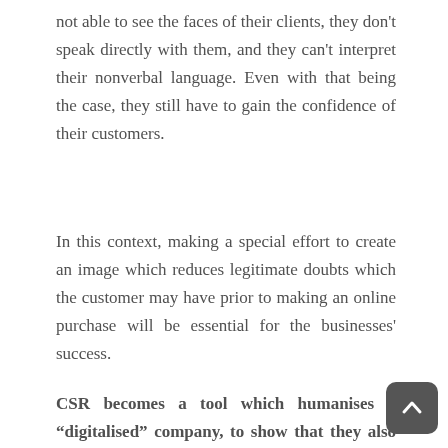not able to see the faces of their clients, they don't speak directly with them, and they can't interpret their nonverbal language. Even with that being the case, they still have to gain the confidence of their customers.
In this context, making a special effort to create an image which reduces legitimate doubts which the customer may have prior to making an online purchase will be essential for the businesses' success.
CSR becomes a tool which humanises a "digitalised" company, to show that they also have a heart (just as the trader had from the shops…